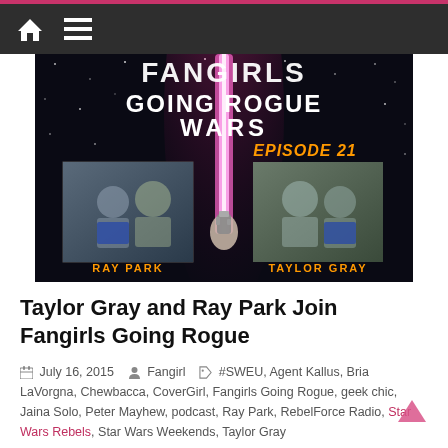Navigation bar with home and menu icons
[Figure (photo): Podcast cover art for Fangirls Going Rogue Wars Episode 21, showing two photos: one with Ray Park and a fan, one with Taylor Gray and a fan, on a Star Wars themed background with pink lightsaber]
Taylor Gray and Ray Park Join Fangirls Going Rogue
July 16, 2015   Fangirl   #SWEU, Agent Kallus, Bria LaVorgna, Chewbacca, CoverGirl, Fangirls Going Rogue, geek chic, Jaina Solo, Peter Mayhew, podcast, Ray Park, RebelForce Radio, Star Wars Rebels, Star Wars Weekends, Taylor Gray